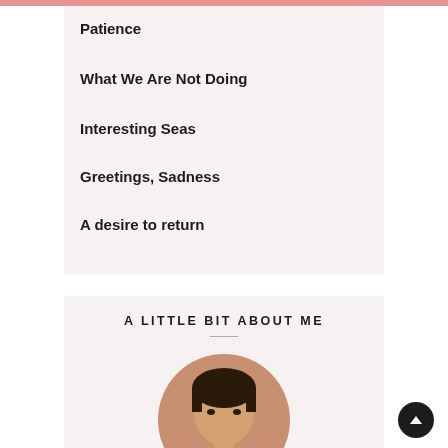Patience
What We Are Not Doing
Interesting Seas
Greetings, Sadness
A desire to return
A LITTLE BIT ABOUT ME
[Figure (photo): Circular portrait photo of a young man with dark hair, cropped at bottom of frame]